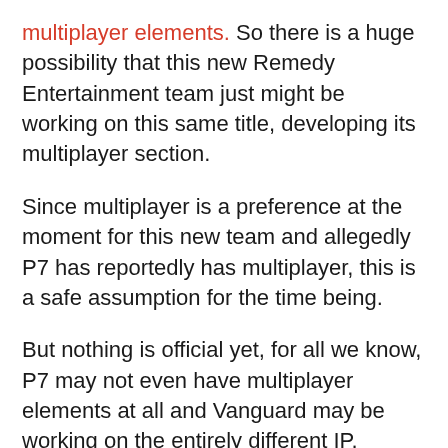multiplayer elements. So there is a huge possibility that this new Remedy Entertainment team just might be working on this same title, developing its multiplayer section.
Since multiplayer is a preference at the moment for this new team and allegedly P7 has reportedly has multiplayer, this is a safe assumption for the time being.
But nothing is official yet, for all we know, P7 may not even have multiplayer elements at all and Vanguard may be working on the entirely different IP.
That said, it could be some time before we